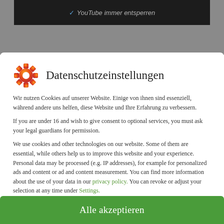[Figure (screenshot): Top dark/grey bar with YouTube cookie unlock checkbox text in dark band]
Datenschutzeinstellungen
Wir nutzen Cookies auf unserer Website. Einige von ihnen sind essenziell, während andere uns helfen, diese Website und Ihre Erfahrung zu verbessern.
If you are under 16 and wish to give consent to optional services, you must ask your legal guardians for permission.
We use cookies and other technologies on our website. Some of them are essential, while others help us to improve this website and your experience. Personal data may be processed (e.g. IP addresses), for example for personalized ads and content or ad and content measurement. You can find more information about the use of your data in our privacy policy. You can revoke or adjust your selection at any time under Settings.
Essenziell
Externe Medien
Alle akzeptieren